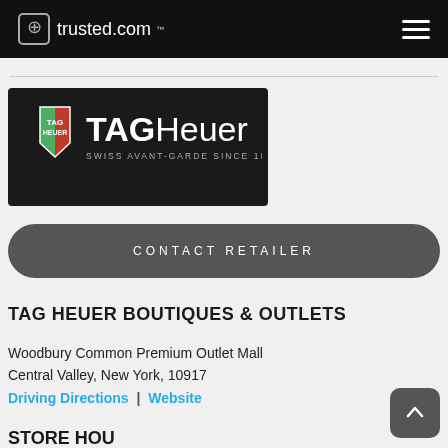⊕trusted.com™
[Figure (logo): TAG Heuer logo on dark background — shield logo with TAG and HEUER text, Swiss Avant-Garde since 1860 tagline]
CONTACT RETAILER
TAG HEUER BOUTIQUES & OUTLETS
Woodbury Common Premium Outlet Mall
Central Valley, New York, 10917
Driving Directions | Website
STORE HOURS